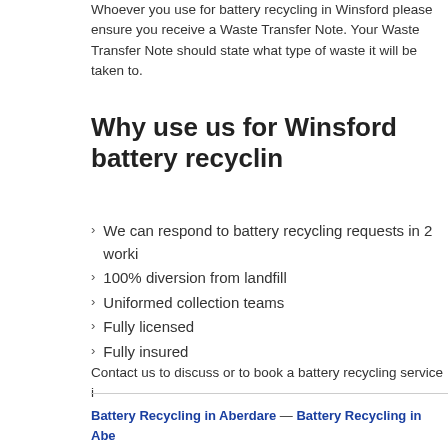Whoever you use for battery recycling in Winsford please ensure you receive a Waste Transfer Note. Your Waste Transfer Note should state what type of waste it will be taken to.
Why use us for Winsford battery recycling
We can respond to battery recycling requests in 2 working days
100% diversion from landfill
Uniformed collection teams
Fully licensed
Fully insured
Contact us to discuss or to book a battery recycling service in
Battery Recycling in Aberdare — Battery Recycling in Aberystwyth Battery Recycling in Abingdon — Battery Recycling in Accrington — Battery Recycling in Altrincham — Battery Recycling in Amersham — Battery Recycling in Ardrossan — Battery Recycling in Ashton in Makerfield — Battery Recycling in Ashton under Lyne Battery Recycling in Athlone — Battery Recycling in Aylesbury — Battery Recycling in Ballymena — Battery Recycling in Banbury